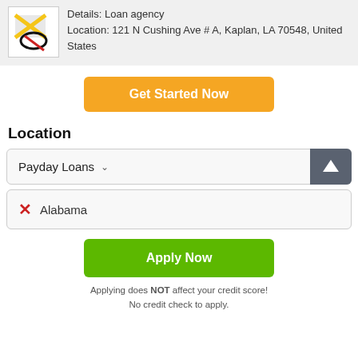Details: Loan agency
Location: 121 N Cushing Ave # A, Kaplan, LA 70548, United States
Get Started Now
Location
Payday Loans
Alabama
Apply Now
Applying does NOT affect your credit score!
No credit check to apply.